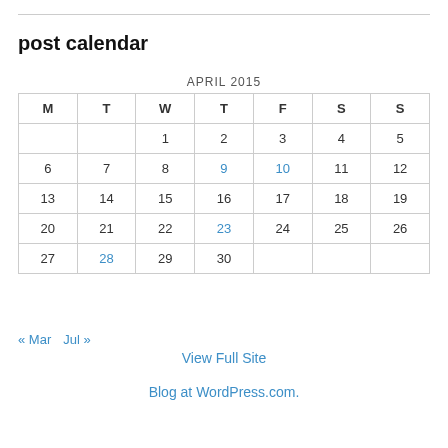post calendar
| M | T | W | T | F | S | S |
| --- | --- | --- | --- | --- | --- | --- |
|  |  | 1 | 2 | 3 | 4 | 5 |
| 6 | 7 | 8 | 9 | 10 | 11 | 12 |
| 13 | 14 | 15 | 16 | 17 | 18 | 19 |
| 20 | 21 | 22 | 23 | 24 | 25 | 26 |
| 27 | 28 | 29 | 30 |  |  |  |
« Mar   Jul »
View Full Site
Blog at WordPress.com.